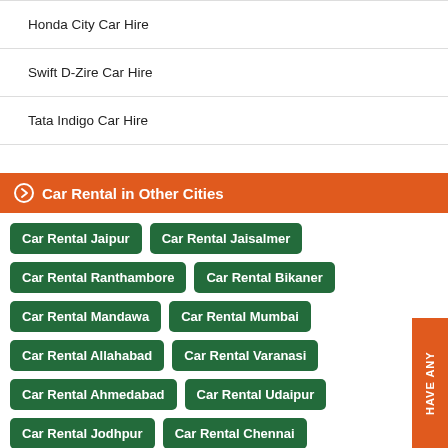Honda City Car Hire
Swift D-Zire Car Hire
Tata Indigo Car Hire
Car Rental in Other Cities
Car Rental Jaipur
Car Rental Jaisalmer
Car Rental Ranthambore
Car Rental Bikaner
Car Rental Mandawa
Car Rental Mumbai
Car Rental Allahabad
Car Rental Varanasi
Car Rental Ahmedabad
Car Rental Udaipur
Car Rental Jodhpur
Car Rental Chennai
Car Rental Chandigarh
Car Rental Amritsar